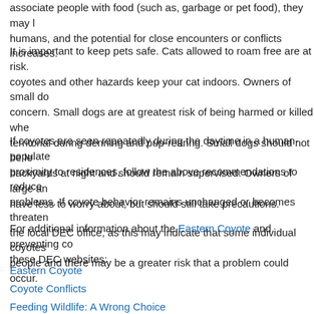associate people with food (such as, garbage or pet food), they may lose their fear of humans, and the potential for close encounters or conflicts increases.
It is important to keep pets safe. Cats allowed to roam free are at risk. To protect cats from coyotes and other hazards keep your cat indoors. Owners of small dogs should be particularly concern. Small dogs are at greatest risk of being harmed or killed when coyotes are territorial during denning and pup-rearing. Small dogs should not be left unattended in backyards at night and should remain supervised. Owners of large and medium-sized dogs have less to worry about, but should still take precautions.
If coyotes are seen repeatedly during the daytime in a human-populated area or in close proximity to residences, follow the above recommendations to reduce the potential for problems. If coyote behavior remains unchanged or becomes threatening, please contact the local DEC office, as this may indicate that some individual coyotes have lost their fear of people and there may be a greater risk that a problem could occur.
For additional information about the Eastern Coyote and preventing conflicts, visit these DEC websites:
Eastern Coyote
Coyote Conflicts
Feeding Wildlife: A Wrong Choice
Tips to Eliminate Wildlife Conflicts
Regional DEC Wildlife Offices